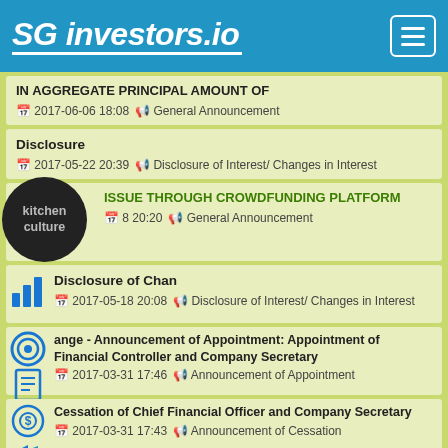SG investors.io
IN AGGREGATE PRINCIPAL AMOUNT OF
2017-06-06 18:08  General Announcement
Disclosure
2017-05-22 20:39  Disclosure of Interest/ Changes in Interest
ISSUE THROUGH CROWDFUNDING PLATFORM
8 20:20  General Announcement
Disclosure of Chan
2017-05-18 20:08  Disclosure of Interest/ Changes in Interest
ange - Announcement of Appointment: Appointment of Financial Controller and Company Secretary
2017-03-31 17:46  Announcement of Appointment
Cessation of Chief Financial Officer and Company Secretary
2017-03-31 17:43  Announcement of Cessation